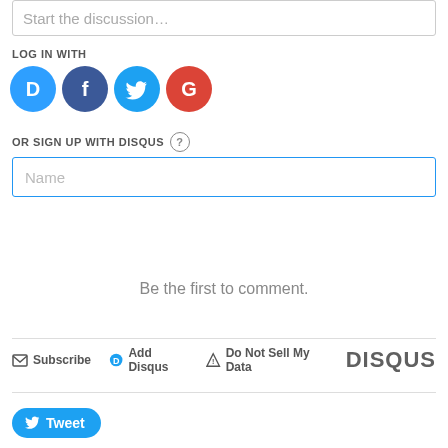Start the discussion…
LOG IN WITH
[Figure (infographic): Social login icons: Disqus (blue circle with D), Facebook (dark blue circle with f), Twitter (light blue circle with bird), Google (red circle with G)]
OR SIGN UP WITH DISQUS ?
Name
Be the first to comment.
Subscribe  Add Disqus  Do Not Sell My Data  DISQUS
[Figure (infographic): Tweet button with Twitter bird icon]